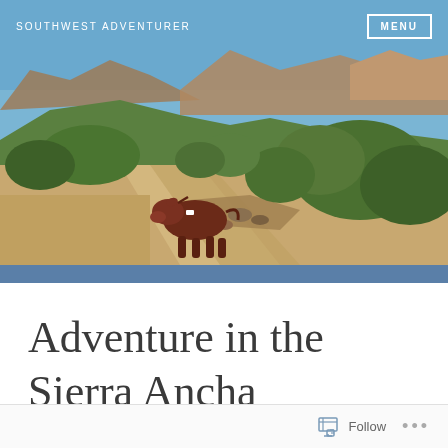SOUTHWEST ADVENTURER
[Figure (photo): A red/brown cow walking along a dirt gravel trail in a desert mountain landscape with green shrubs and blue sky, mountains visible in background]
Adventure in the Sierra Ancha
Follow ...